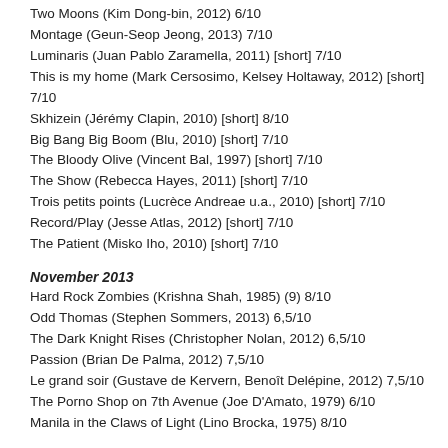Two Moons (Kim Dong-bin, 2012) 6/10
Montage (Geun-Seop Jeong, 2013) 7/10
Luminaris (Juan Pablo Zaramella, 2011) [short] 7/10
This is my home (Mark Cersosimo, Kelsey Holtaway, 2012) [short] 7/10
Skhizein (Jérémy Clapin, 2010) [short] 8/10
Big Bang Big Boom (Blu, 2010) [short] 7/10
The Bloody Olive (Vincent Bal, 1997) [short] 7/10
The Show (Rebecca Hayes, 2011) [short] 7/10
Trois petits points (Lucrèce Andreae u.a., 2010) [short] 7/10
Record/Play (Jesse Atlas, 2012) [short] 7/10
The Patient (Misko Iho, 2010) [short] 7/10
November 2013
Hard Rock Zombies (Krishna Shah, 1985) (9) 8/10
Odd Thomas (Stephen Sommers, 2013) 6,5/10
The Dark Knight Rises (Christopher Nolan, 2012) 6,5/10
Passion (Brian De Palma, 2012) 7,5/10
Le grand soir (Gustave de Kervern, Benoît Delépine, 2012) 7,5/10
The Porno Shop on 7th Avenue (Joe D'Amato, 1979) 6/10
Manila in the Claws of Light (Lino Brocka, 1975) 8/10